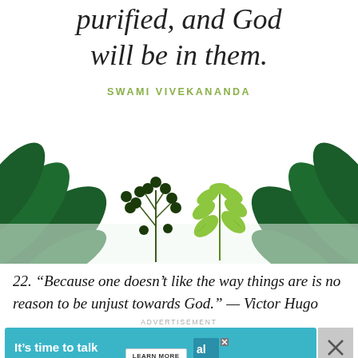purified, and God will be in them.
SWAMI VIVEKANANDA
[Figure (illustration): Decorative botanical illustration with large dark green tropical leaves on the left and right sides, a dark green berry branch in the center-left, and a light green leafy sprig in the center-right, on a white background.]
22. “Because one doesn’t like the way things are is no reason to be unjust towards God.” — Victor Hugo
ADVERTISEMENT
[Figure (infographic): Advertisement banner in teal/cyan color reading 'It's time to talk about Alzheimer's.' with a LEARN MORE button, Alzheimer's Association logo, and a close button on the right.]